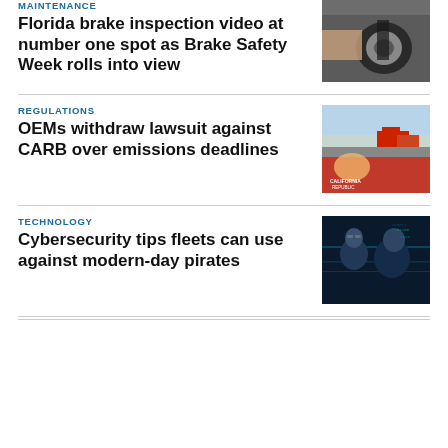MAINTENANCE
Florida brake inspection video at number one spot as Brake Safety Week rolls into view
[Figure (photo): Close-up photo of a person inspecting or working on a brake system]
REGULATIONS
OEMs withdraw lawsuit against CARB over emissions deadlines
[Figure (photo): California Republic logo with red trucks driving on a highway]
TECHNOLOGY
Cybersecurity tips fleets can use against modern-day pirates
[Figure (photo): Two men looking at glowing digital screens in a dark environment]